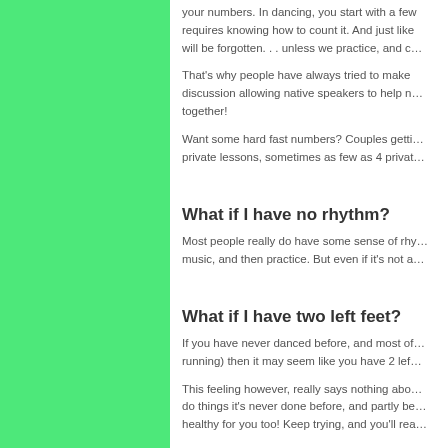your numbers. In dancing, you start with a few steps, each requires knowing how to count it. And just like anything, it will be forgotten. . . unless we practice, and c…
That's why people have always tried to make… discussion allowing native speakers to help n… together!
Want some hard fast numbers? Couples getti… private lessons, sometimes as few as 4 privat…
What if I have no rhythm?
Most people really do have some sense of rhy… music, and then practice. But even if it's not a…
What if I have two left feet?
If you have never danced before, and most of… running) then it may seem like you have 2 lef…
This feeling however, really says nothing abo… do things it's never done before, and partly be… healthy for you too! Keep trying, and you'll rea…